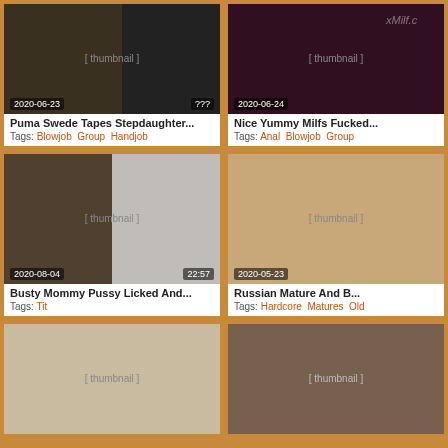[Figure (screenshot): Video thumbnail: Puma Swede Tapes Stepdaughter, date 2020-06-23, duration ???]
Puma Swede Tapes Stepdaughter...
Tags: Blowjob  Group  Handjob
[Figure (screenshot): Video thumbnail: Nice Yummy Milfs Fucked, date 2020-06-24, xMilf.c watermark]
Nice Yummy Milfs Fucked...
Tags: Anal  Blowjob  Group
[Figure (screenshot): Video thumbnail: Busty Mommy Pussy Licked And, date 2020-08-04, duration 22:57]
Busty Mommy Pussy Licked And...
Tags: Tit
[Figure (screenshot): Video thumbnail: Russian Mature And, date 2020-05-23]
Russian Mature And B...
Tags: Hardcore  Matures  Old
[Figure (screenshot): Video thumbnail bottom left, no title/tags visible]
[Figure (screenshot): Video thumbnail bottom right, no title/tags visible]